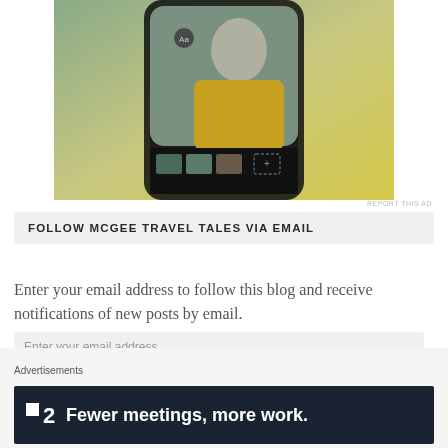[Figure (screenshot): Partial view of a smartphone displaying a photo editing or wallpaper app interface with a person in a yellow jacket visible on screen, shown against a yellow-green gradient background.]
REPORT THIS AD
FOLLOW MCGEE TRAVEL TALES VIA EMAIL
Enter your email address to follow this blog and receive notifications of new posts by email.
Enter your email address
FOLLOW THE STORY
Advertisements
[Figure (screenshot): Advertisement banner with dark navy background showing F2 logo (a small white square icon followed by the number 2) and the text 'Fewer meetings, more work.']
REPORT THIS AD